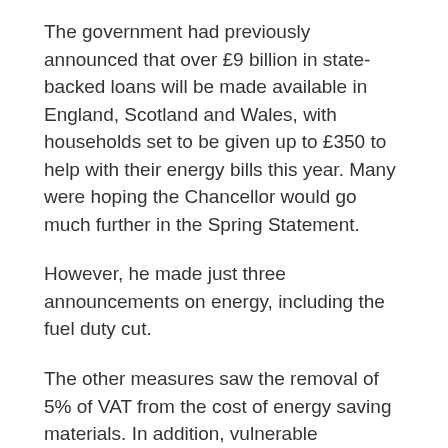The government had previously announced that over £9 billion in state-backed loans will be made available in England, Scotland and Wales, with households set to be given up to £350 to help with their energy bills this year. Many were hoping the Chancellor would go much further in the Spring Statement.
However, he made just three announcements on energy, including the fuel duty cut.
The other measures saw the removal of 5% of VAT from the cost of energy saving materials. In addition, vulnerable households will be aided by £500 million of new funding.
No rabbit from the hat
These measures drew a scathing response from consumer champion Martin Lewis.
Taking to social media, he said: 'If that's all he's doing on energy - it is limited and won't impact the majority of